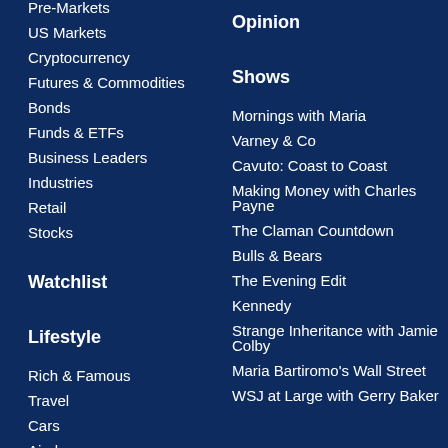Pre-Markets
US Markets
Cryptocurrency
Futures & Commodities
Bonds
Funds & ETFs
Business Leaders
Industries
Retail
Stocks
Watchlist
Lifestyle
Rich & Famous
Travel
Cars
Airplanes
Food & Drinks
Opinion
Shows
Mornings with Maria
Varney & Co
Cavuto: Coast to Coast
Making Money with Charles Payne
The Claman Countdown
Bulls & Bears
The Evening Edit
Kennedy
Strange Inheritance with Jamie Colby
Maria Bartiromo's Wall Street
WSJ at Large with Gerry Baker